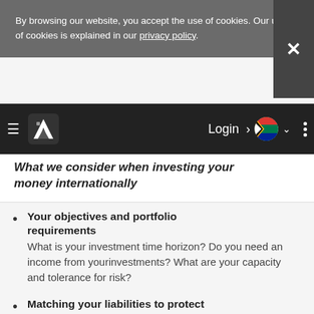By browsing our website, you accept the use of cookies. Our use of cookies is explained in our privacy policy.
Navigation bar with logo, Login, South Africa flag, and menu
What we consider when investing your money internationally
Your objectives and portfolio requirements
What is your investment time horizon? Do you need an income from yourinvestments? What are your capacity and tolerance for risk?
Matching your liabilities to protect your wealth
We ensure that your debts are covered by assets of the same value and are denominated in the same currency as the debt.